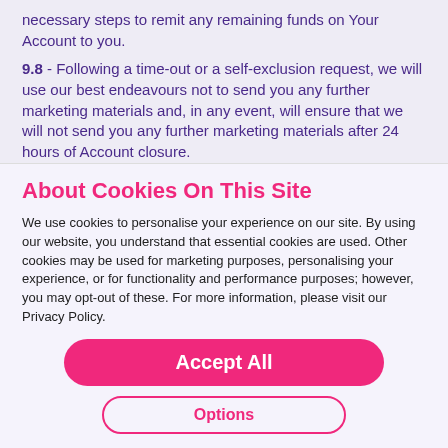necessary steps to remit any remaining funds on Your Account to you.
9.8 - Following a time-out or a self-exclusion request, we will use our best endeavours not to send you any further marketing materials and, in any event, will ensure that we will not send you any further marketing materials after 24 hours of Account closure.
9.9 - Once Your Member Account is reopened in the manner set out in this chapter, You shall be
About Cookies On This Site
We use cookies to personalise your experience on our site. By using our website, you understand that essential cookies are used. Other cookies may be used for marketing purposes, personalising your experience, or for functionality and performance purposes; however, you may opt-out of these. For more information, please visit our Privacy Policy.
Accept All
Options